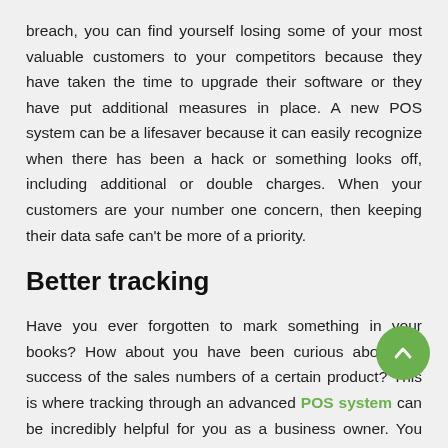breach, you can find yourself losing some of your most valuable customers to your competitors because they have taken the time to upgrade their software or they have put additional measures in place. A new POS system can be a lifesaver because it can easily recognize when there has been a hack or something looks off, including additional or double charges. When your customers are your number one concern, then keeping their data safe can't be more of a priority.
Better tracking
Have you ever forgotten to mark something in your books? How about you have been curious about the success of the sales numbers of a certain product? This is where tracking through an advanced POS system can be incredibly helpful for you as a business owner. You can spot trends related to how your business is performing and whether there are any